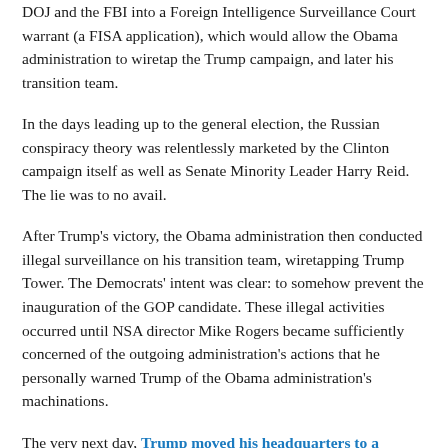DOJ and the FBI into a Foreign Intelligence Surveillance Court warrant (a FISA application), which would allow the Obama administration to wiretap the Trump campaign, and later his transition team.
In the days leading up to the general election, the Russian conspiracy theory was relentlessly marketed by the Clinton campaign itself as well as Senate Minority Leader Harry Reid. The lie was to no avail.
After Trump's victory, the Obama administration then conducted illegal surveillance on his transition team, wiretapping Trump Tower. The Democrats' intent was clear: to somehow prevent the inauguration of the GOP candidate. These illegal activities occurred until NSA director Mike Rogers became sufficiently concerned of the outgoing administration's actions that he personally warned Trump of the Obama administration's machinations.
The very next day, Trump moved his headquarters to a location in Bedminster, New Jersey. For Rogers' troubles, top Obama intelligence officials, including Director of